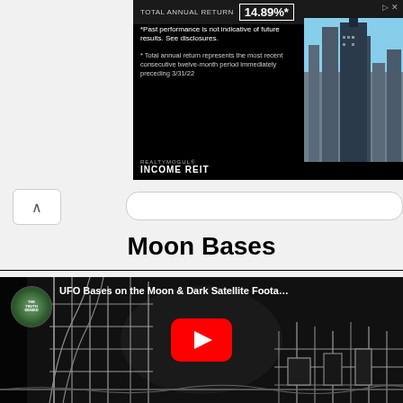[Figure (screenshot): Advertisement banner for Realtymogul Income REIT showing total annual return of 14.89%* with city skyline image and disclaimer text]
Moon Bases
[Figure (screenshot): YouTube video thumbnail for 'UFO Bases on the Moon & Dark Satellite Foota...' from The Truth Denied channel, showing black and white sci-fi imagery with YouTube play button overlay]